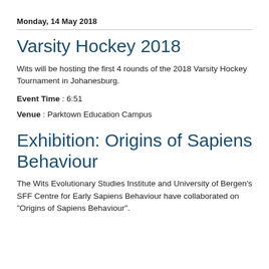Monday, 14 May 2018
Varsity Hockey 2018
Wits will be hosting the first 4 rounds of the 2018 Varsity Hockey Tournament in Johanesburg.
Event Time : 6:51
Venue : Parktown Education Campus
Exhibition: Origins of Sapiens Behaviour
The Wits Evolutionary Studies Institute and University of Bergen's SFF Centre for Early Sapiens Behaviour have collaborated on "Origins of Sapiens Behaviour".